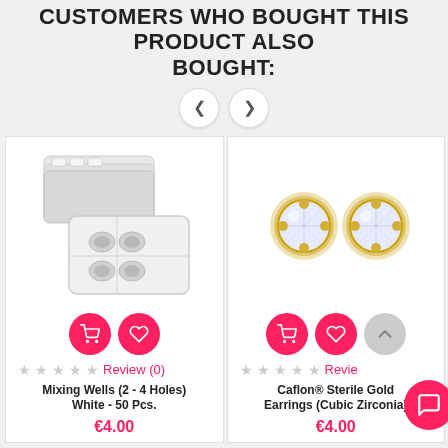CUSTOMERS WHO BOUGHT THIS PRODUCT ALSO BOUGHT:
[Figure (illustration): Navigation left and right arrow circle buttons]
[Figure (photo): Mixing Wells (2-4 Holes) White plastic blocks, 50 pcs]
Review (0)
Mixing Wells (2 - 4 Holes) White - 50 Pcs.
€4.00
[Figure (photo): Caflon Sterile Gold Stud Earrings (Cubic Zirconia) pair]
Review (0)
Caflon® Sterile Gold Earrings (Cubic Zirconia)
€4.00